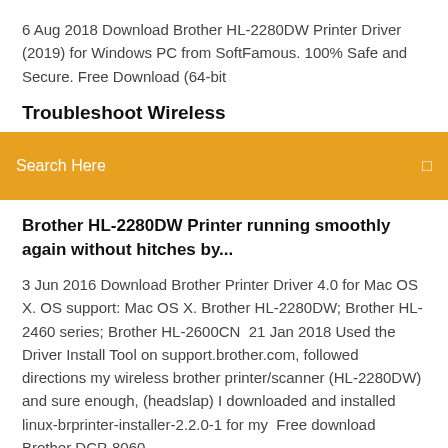6 Aug 2018 Download Brother HL-2280DW Printer Driver (2019) for Windows PC from SoftFamous. 100% Safe and Secure. Free Download (64-bit
Troubleshoot Wireless
[Figure (screenshot): Orange search bar with 'Search Here' placeholder text and a search icon on the right]
Brother HL-2280DW Printer running smoothly again without hitches by...
3 Jun 2016 Download Brother Printer Driver 4.0 for Mac OS X. OS support: Mac OS X. Brother HL-2280DW; Brother HL-2460 series; Brother HL-2600CN  21 Jan 2018 Used the Driver Install Tool on support.brother.com, followed directions my wireless brother printer/scanner (HL-2280DW) and sure enough, (headslap) I downloaded and installed linux-brprinter-installer-2.2.0-1 for my  Free download Brother DCP-8060 Printer/Scanner, printer driver 11.01 ... September 1, 2018 ...